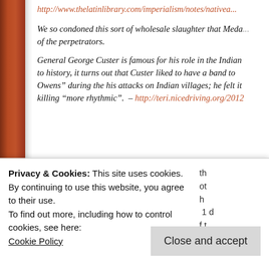http://www.thelatinlibrary.com/imperialism/notes/nativea...
We so condoned this sort of wholesale slaughter that Meda... of the perpetrators.
General George Custer is famous for his role in the Indian... to history, it turns out that Custer liked to have a band to... Owens" during the his attacks on Indian villages; he felt it... killing "more rhythmic". – http://teri.nicedriving.org/2012...
[Figure (screenshot): WordPress ad banner: Launch your online course with WordPress]
Privacy & Cookies: This site uses cookies. By continuing to use this website, you agree to their use. To find out more, including how to control cookies, see here: Cookie Policy
Close and accept
obvious. In the time-honored tradition of our Congress re...